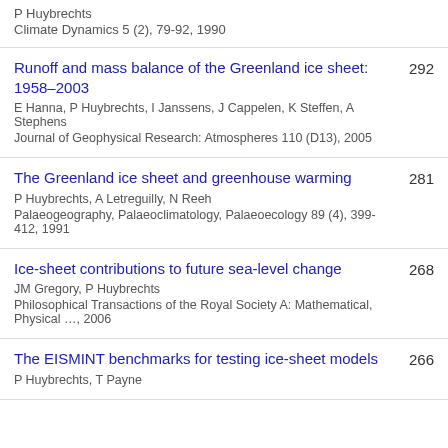P Huybrechts
Climate Dynamics 5 (2), 79-92, 1990
Runoff and mass balance of the Greenland ice sheet: 1958–2003 | 292 | E Hanna, P Huybrechts, I Janssens, J Cappelen, K Steffen, A Stephens | Journal of Geophysical Research: Atmospheres 110 (D13), 2005
The Greenland ice sheet and greenhouse warming | 281 | P Huybrechts, A Letreguilly, N Reeh | Palaeogeography, Palaeoclimatology, Palaeoecology 89 (4), 399-412, 1991
Ice-sheet contributions to future sea-level change | 268 | JM Gregory, P Huybrechts | Philosophical Transactions of the Royal Society A: Mathematical, Physical …, 2006
The EISMINT benchmarks for testing ice-sheet models | 266 | P Huybrechts, T Payne